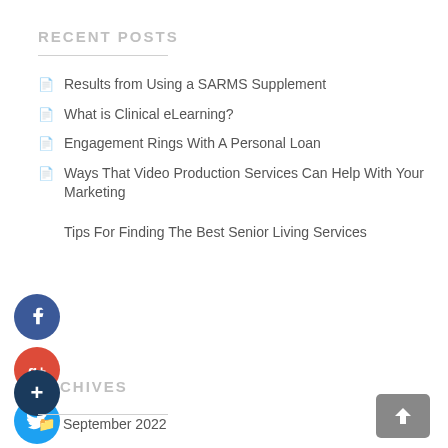RECENT POSTS
Results from Using a SARMS Supplement
What is Clinical eLearning?
Engagement Rings With A Personal Loan
Ways That Video Production Services Can Help With Your Marketing
Tips For Finding The Best Senior Living Services
ARCHIVES
September 2022